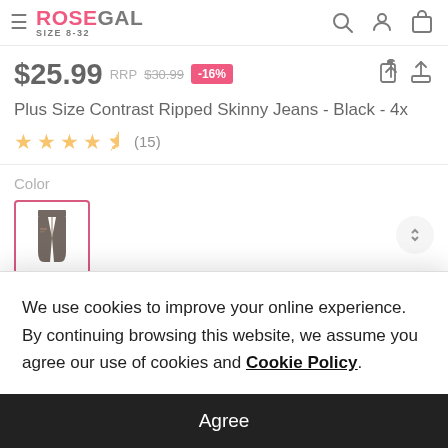ROSEGAL SIZE 8-32
$25.99 RRP $30.99 -16%
Plus Size Contrast Ripped Skinny Jeans - Black - 4x
★★★★½ (15)
Color
[Figure (photo): Selected color swatch showing dark/black jeans thumbnail with pink/red border indicating selected state]
We use cookies to improve your online experience. By continuing browsing this website, we assume you agree our use of cookies and Cookie Policy.
Agree